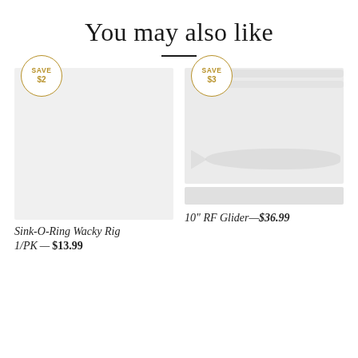You may also like
[Figure (photo): Product image placeholder for Sink-O-Ring Wacky Rig with SAVE $2 badge]
Sink-O-Ring Wacky Rig
1/PK — $13.99
[Figure (photo): Product image placeholder for 10" RF Glider with SAVE $3 badge]
10" RF Glider — $36.99